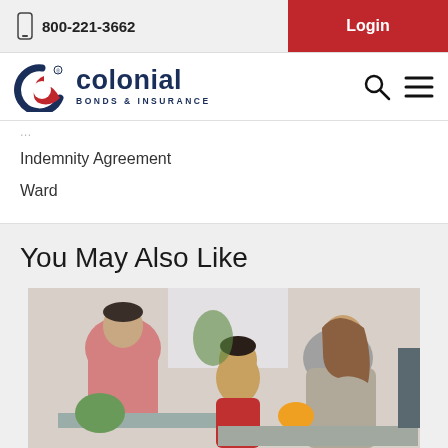800-221-3662 | Login
[Figure (logo): Colonial Bonds & Insurance logo with circular S icon in dark navy and red]
Indemnity Agreement
Ward
You May Also Like
[Figure (photo): Asian family in a kitchen — man in pink sweater at counter, woman and young child in red apron handling vegetables and food]